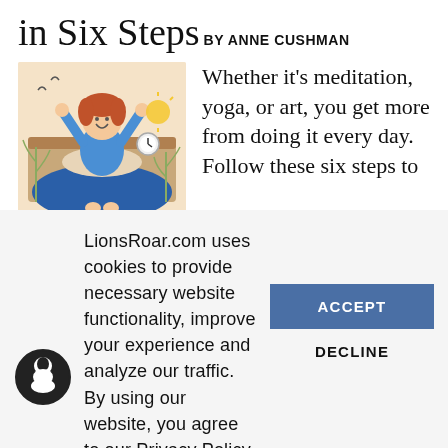in Six Steps
BY ANNE CUSHMAN
[Figure (illustration): Cartoon illustration of a person with red hair sitting up in bed with arms raised joyfully, wearing blue pajamas. An alarm clock and sunrise visible in the background with abstract plant/nature elements. Warm beige background.]
Whether it's meditation, yoga, or art, you get more from doing it every day. Follow these six steps to
LionsRoar.com uses cookies to provide necessary website functionality, improve your experience and analyze our traffic. By using our website, you agree to our Privacy Policy and our cookies usage.